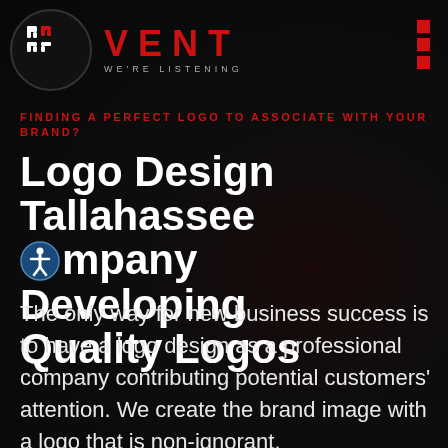[Figure (logo): Vent logo with circular icon containing stylized 'Lo Go' text in red and white, beside 'VENT' in large red letters and 'WE'RE LISTENING' tagline]
FINDING A PERFECT LOGO TO ASSOCIATE WITH YOUR BRAND?
Logo Design Tallahassee Company Developing Quality Logos
The only way for new business success is to have a logo design as a professional company contributing potential customers' attention. We create the brand image with a logo that is non-ignorant.